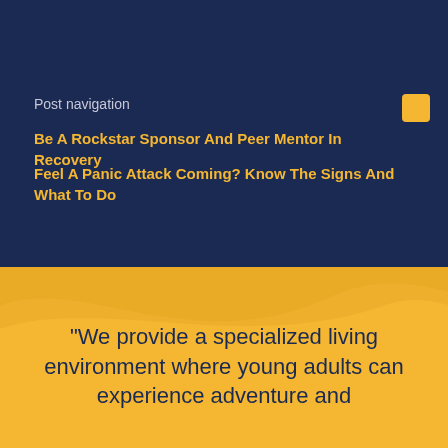Post navigation
Be A Rockstar Sponsor And Peer Mentor In Recovery
Feel A Panic Attack Coming? Know The Signs And What To Do
"We provide a specialized living environment where young adults can experience adventure and